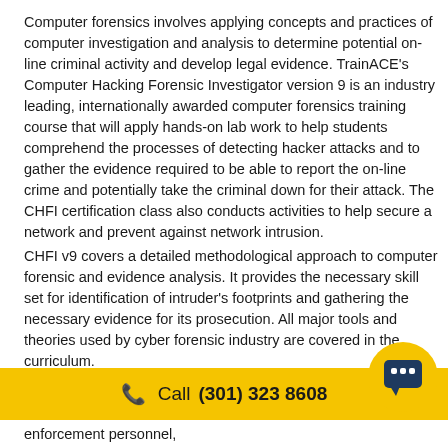Computer forensics involves applying concepts and practices of computer investigation and analysis to determine potential on-line criminal activity and develop legal evidence. TrainACE's Computer Hacking Forensic Investigator version 9 is an industry leading, internationally awarded computer forensics training course that will apply hands-on lab work to help students comprehend the processes of detecting hacker attacks and to gather the evidence required to be able to report the on-line crime and potentially take the criminal down for their attack. The CHFI certification class also conducts activities to help secure a network and prevent against network intrusion.
CHFI v9 covers a detailed methodological approach to computer forensic and evidence analysis. It provides the necessary skill set for identification of intruder's footprints and gathering the necessary evidence for its prosecution. All major tools and theories used by cyber forensic industry are covered in the curriculum.
enforcement personnel, system administrators, security officers, defense and military
[Figure (infographic): Yellow banner with phone icon and call number (301) 323 8608, and a circular yellow chat button with a dark chat icon on the right]